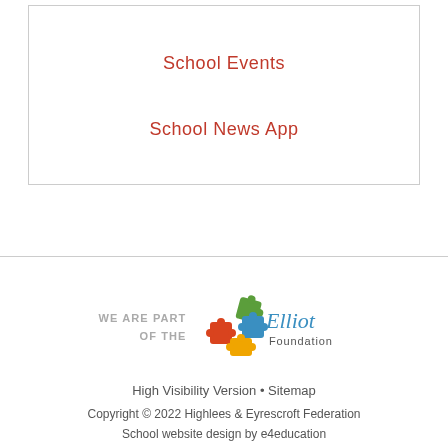School Events
School News App
[Figure (logo): Elliot Foundation logo with colorful puzzle pieces and cursive 'Elliot Foundation' text, with 'WE ARE PART OF THE' text in grey]
High Visibility Version • Sitemap
Copyright © 2022 Highlees & Eyrescroft Federation
School website design by e4education